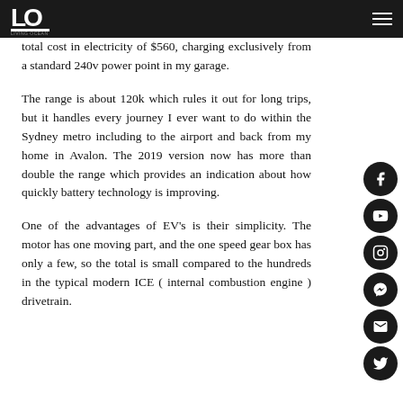Living Ocean — navigation header
total cost in electricity of $560, charging exclusively from a standard 240v power point in my garage.
The range is about 120k which rules it out for long trips, but it handles every journey I ever want to do within the Sydney metro including to the airport and back from my home in Avalon. The 2019 version now has more than double the range which provides an indication about how quickly battery technology is improving.
One of the advantages of EV's is their simplicity. The motor has one moving part, and the one speed gear box has only a few, so the total is small compared to the hundreds in the typical modern ICE ( internal combustion engine ) drivetrain.